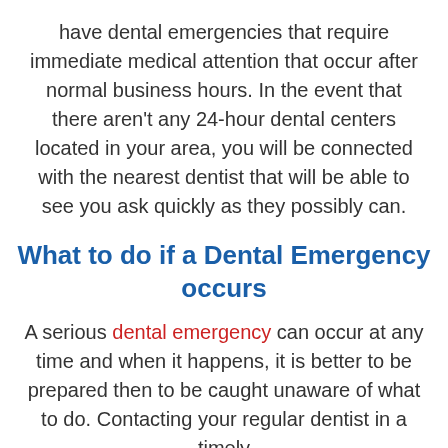have dental emergencies that require immediate medical attention that occur after normal business hours. In the event that there aren't any 24-hour dental centers located in your area, you will be connected with the nearest dentist that will be able to see you ask quickly as they possibly can.
What to do if a Dental Emergency occurs
A serious dental emergency can occur at any time and when it happens, it is better to be prepared then to be caught unaware of what to do. Contacting your regular dentist in a timely